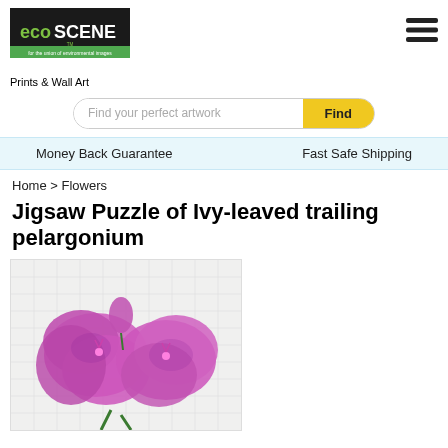[Figure (logo): ecoSCENE logo - green text on black background with tagline 'for the union of environmental images']
Prints & Wall Art
Find your perfect artwork
Money Back Guarantee
Fast Safe Shipping
Home > Flowers
Jigsaw Puzzle of Ivy-leaved trailing pelargonium
[Figure (photo): Jigsaw puzzle image of ivy-leaved trailing pelargonium showing bright pink/purple flowers against white background with visible puzzle piece cuts]